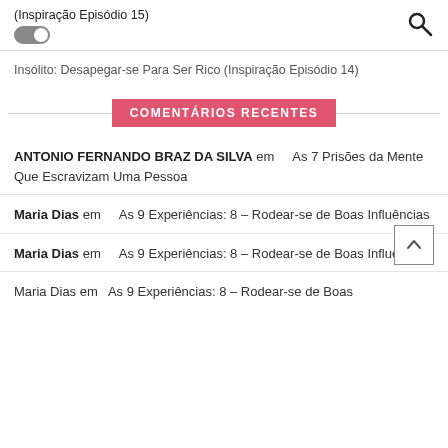(Inspiração Episódio 15)
Insólito: Desapegar-se Para Ser Rico (Inspiração Episódio 14)
COMENTÁRIOS RECENTES
ANTONIO FERNANDO BRAZ DA SILVA em   As 7 Prisões da Mente Que Escravizam Uma Pessoa
Maria Dias em   As 9 Experiências: 8 – Rodear-se de Boas Influências
Maria Dias em   As 9 Experiências: 8 – Rodear-se de Boas Influências
Maria Dias em   As 9 Experiências: 8 – Rodear-se de Boas Influências